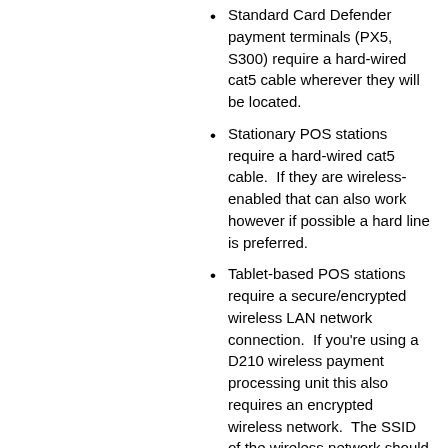Standard Card Defender payment terminals (PX5, S300) require a hard-wired cat5 cable wherever they will be located.
Stationary POS stations require a hard-wired cat5 cable.  If they are wireless-enabled that can also work however if possible a hard line is preferred.
Tablet-based POS stations require a secure/encrypted wireless LAN network connection.  If you're using a D210 wireless payment processing unit this also requires an encrypted wireless network.  The SSID of the wireless network should not change.
LAN connections should have